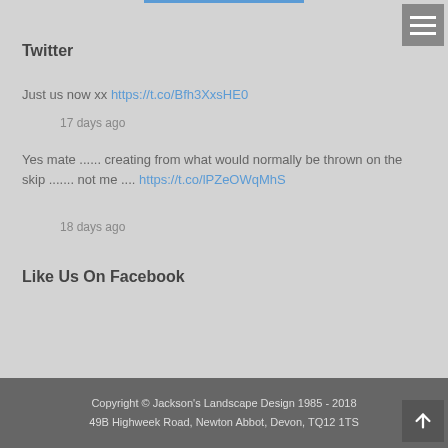Twitter
Just us now xx https://t.co/Bfh3XxsHE0
17 days ago
Yes mate ...... creating from what would normally be thrown on the skip ....... not me .... https://t.co/lPZeOWqMhS
18 days ago
Like Us On Facebook
Copyright © Jackson's Landscape Design 1985 - 2018
49B Highweek Road, Newton Abbot, Devon, TQ12 1TS